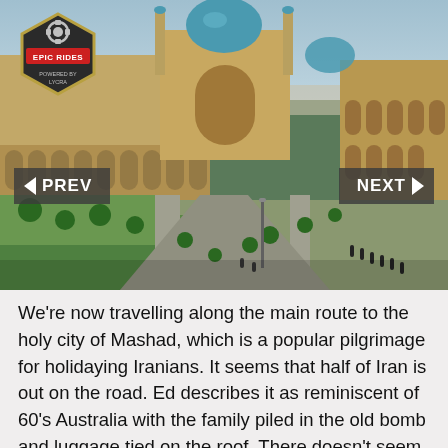[Figure (photo): Aerial view of Naqsh-e Jahan Square in Isfahan, Iran, showing the Imam Mosque with its blue dome, minarets, arched arcade buildings, green lawns, pathways, and people walking. An Epic Rides logo badge is overlaid in the top-left corner, and PREV / NEXT navigation buttons appear on either side.]
We're now travelling along the main route to the holy city of Mashad, which is a popular pilgrimage for holidaying Iranians. It seems that half of Iran is out on the road. Ed describes it as reminiscent of 60's Australia with the family piled in the old bomb and luggage tied on the roof. There doesn't seem to be any limit